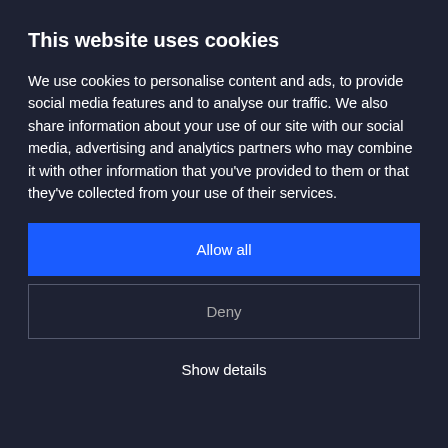This website uses cookies
We use cookies to personalise content and ads, to provide social media features and to analyse our traffic. We also share information about your use of our site with our social media, advertising and analytics partners who may combine it with other information that you've provided to them or that they've collected from your use of their services.
Allow all
Deny
Show details
HordeLore!
Besides all the zombie-killing and loot-grabbing you can